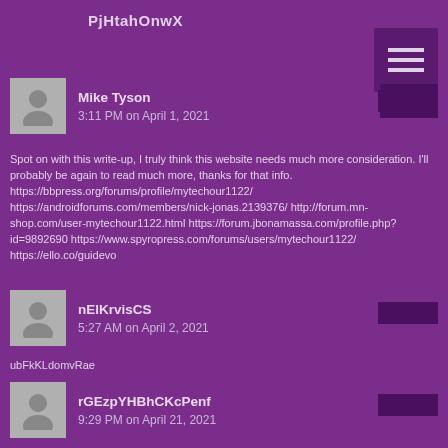PjHtahOnwX
Mike Tyson
3:11 PM on April 1, 2021
Spot on with this write-up, I truly think this website needs much more consideration. I'll probably be again to read much more, thanks for that info. https://bbpress.org/forums/profile/mytechour1122/ https://androidforums.com/members/nick-jonas.2139376/ http://forum.mn-shop.com/user-mytechour1122.html https://forum.jbonamassa.com/profile.php?id=9892690 https://www.spyropress.com/forums/users/mytechour1122/ https://ello.co/guidevo
nElKrvisCS
5:27 AM on April 2, 2021
ubFkKLdomvRae
rGEzpYHBhCKcPenf
9:29 PM on April 21, 2021
ZCYaEyIQrXD
WyzTDtNcGKhaY